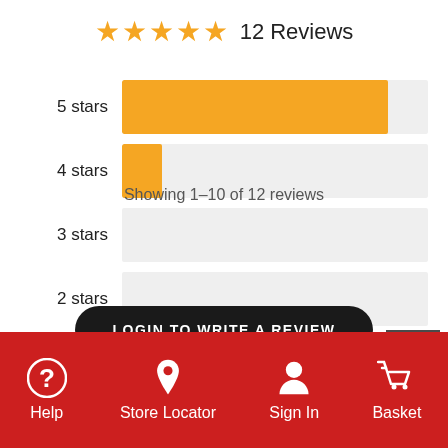[Figure (bar-chart): 12 Reviews]
LOGIN TO WRITE A REVIEW
Help | Store Locator | Sign In | Basket